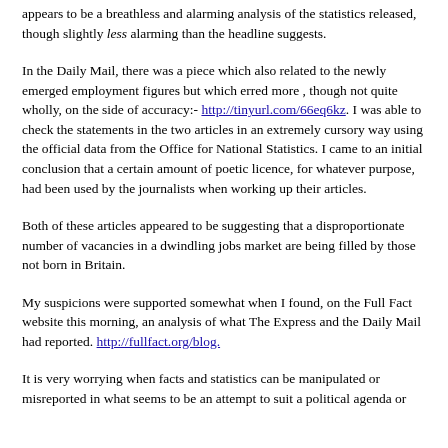appears to be a breathless and alarming analysis of the statistics released, though slightly less alarming than the headline suggests.
In the Daily Mail, there was a piece which also related to the newly emerged employment figures but which erred more , though not quite wholly, on the side of accuracy:- http://tinyurl.com/66eq6kz. I was able to check the statements in the two articles in an extremely cursory way using the official data from the Office for National Statistics. I came to an initial conclusion that a certain amount of poetic licence, for whatever purpose, had been used by the journalists when working up their articles.
Both of these articles appeared to be suggesting that a disproportionate number of vacancies in a dwindling jobs market are being filled by those not born in Britain.
My suspicions were supported somewhat when I found, on the Full Fact website this morning, an analysis of what The Express and the Daily Mail had reported. http://fullfact.org/blog.
It is very worrying when facts and statistics can be manipulated or misreported in what seems to be an attempt to suit a political agenda or